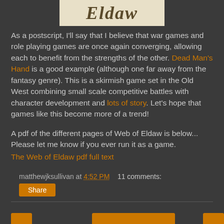[Figure (logo): Web of Eldaw logo/title text in stylized font on light background]
As a postscript, I'll say that I believe that war games and role playing games are once again converging, allowing each to benefit from the strengths of the other. Dead Man's Hand is a good example (although one far away from the fantasy genre). This is a skirmish game set in the Old West combining small scale competitive battles with character development and lots of story. Let's hope that games like this become more of a trend!
A pdf of the different pages of Web of Eldaw is below... Please let me know if you ever run it as a game.
The Web of Eldaw pdf full text
matthewjksullivan at 4:52 PM   11 comments:
Share